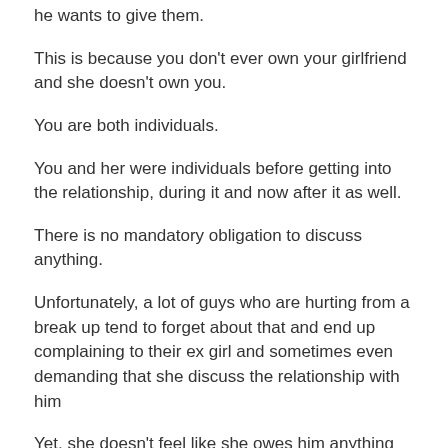he wants to give them.
This is because you don't ever own your girlfriend and she doesn't own you.
You are both individuals.
You and her were individuals before getting into the relationship, during it and now after it as well.
There is no mandatory obligation to discuss anything.
Unfortunately, a lot of guys who are hurting from a break up tend to forget about that and end up complaining to their ex girl and sometimes even demanding that she discuss the relationship with him
Yet, she doesn't feel like she owes him anything and, she doesn't want to have to explain everything in case he then says, “Okay, I get it. I will change. I will fix all of those